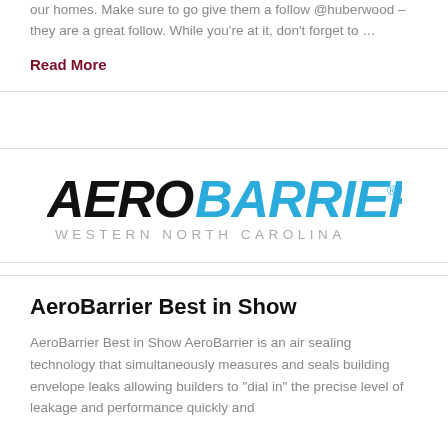our homes. Make sure to go give them a follow @huberwood – they are a great follow. While you're at it, don't forget to …
Read More
[Figure (logo): AeroBarrier Western North Carolina logo — AERO in black bold italic, BARRIER in blue bold italic, WESTERN NORTH CAROLINA in grey spaced capitals below]
AeroBarrier Best in Show
AeroBarrier Best in Show AeroBarrier is an air sealing technology that simultaneously measures and seals building envelope leaks allowing builders to "dial in" the precise level of leakage and performance quickly and